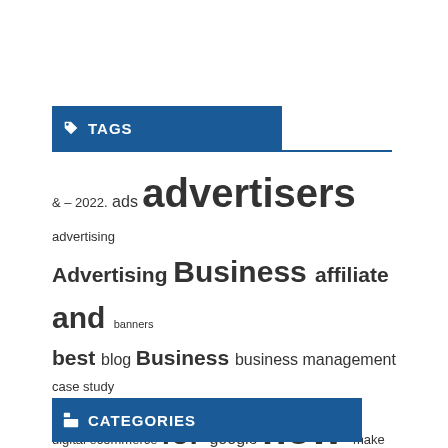TAGS
[Figure (infographic): Tag cloud / word cloud showing various marketing-related tags in different font sizes indicating frequency/importance. Tags include: & – 2022. ads advertisers advertising Advertising Business affiliate and banners best blog Business business management case study digital ecommerce for google how make marketing marketing news marketing strategies marketing trends media money native network online online business online marketing review search engine marketing SEO Social Media Advetising the tips tips and tricks top website what with you your]
CATEGORIES